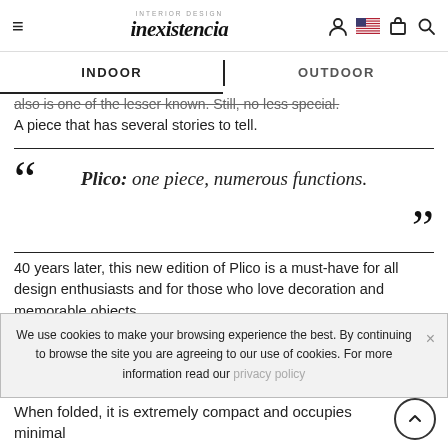INTERIOR DESIGN inexistencia
INDOOR | OUTDOOR
also is one of the lesser known. Still, no less special. A piece that has several stories to tell.
Plico: one piece, numerous functions.
40 years later, this new edition of Plico is a must-have for all design enthusiasts and for those who love decoration and memorable objects.
Full of character, sophisticated, practical and simple to use: Plico is absolutely iconic.
We use cookies to make your browsing experience the best. By continuing to browse the site you are agreeing to our use of cookies. For more information read our privacy policy
When folded, it is extremely compact and occupies minimal